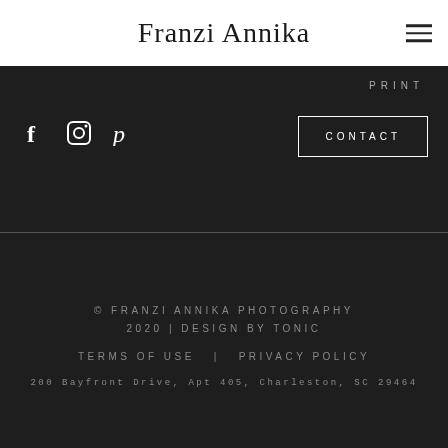Franzi Annika
PRINT
[Figure (other): Social media icons: Facebook (f), Instagram (camera icon), Pinterest (P)]
CONTACT
© FRANZI ANNIKA PHOTOGRAPHY 2020 | DESIGN BY TONIC
TERMS OF USE  |  PRIVACY POLICY
200 Bayfront Drive, Apt 405, Charleston, SC 29464